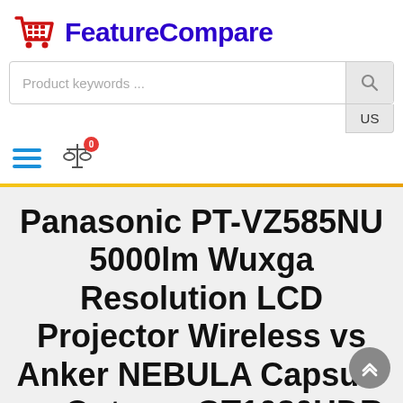FeatureCompare
[Figure (screenshot): FeatureCompare website header with logo (red shopping cart icon), search bar with 'Product keywords ...' placeholder and search button, US locale button, hamburger menu (three blue lines), and compare icon with badge showing 0]
Panasonic PT-VZ585NU 5000lm Wuxga Resolution LCD Projector Wireless vs Anker NEBULA Capsule vs Optoma GT1080HDR